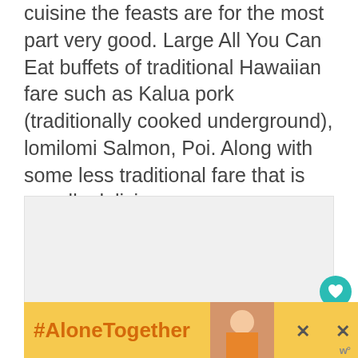cuisine the feasts are for the most part very good. Large All You Can Eat buffets of traditional Hawaiian fare such as Kalua pork (traditionally cooked underground), lomilomi Salmon, Poi. Along with some less traditional fare that is equally delicious.
[Figure (other): Gray placeholder image area for an embedded photo or content block]
[Figure (other): Circular teal heart/favorite button with heart icon, count '1' below it, and a circular share button below that]
[Figure (other): Advertisement banner with orange text '#AloneTogether' on yellow background, a photo of a woman cooking, and two X close buttons with 'w' branding marks]